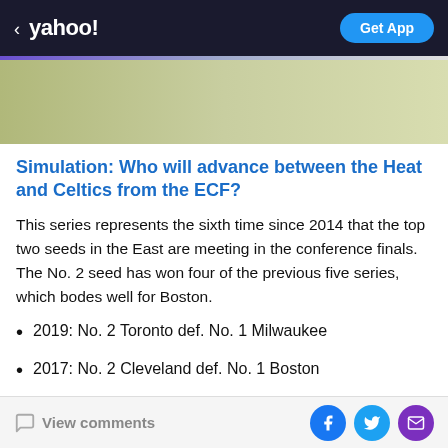yahoo! | Get App
[Figure (illustration): Gradient banner with olive/sage green gradient background and a thin purple-to-gray bar at the top.]
Simulation: Who will advance between the Heat and Celtics from the ECF?
This series represents the sixth time since 2014 that the top two seeds in the East are meeting in the conference finals. The No. 2 seed has won four of the previous five series, which bodes well for Boston.
2019: No. 2 Toronto def. No. 1 Milwaukee
2017: No. 2 Cleveland def. No. 1 Boston
2016: No. 1 Cleveland def. No. 2 Toronto
View comments